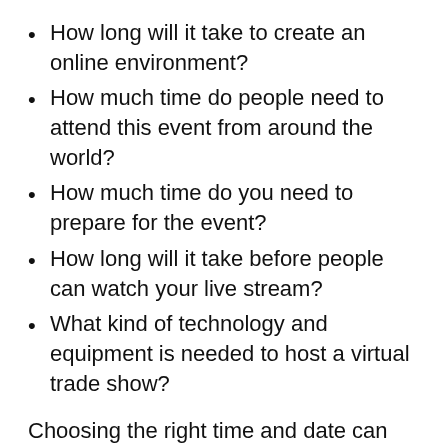How long will it take to create an online environment?
How much time do people need to attend this event from around the world?
How much time do you need to prepare for the event?
How long will it take before people can watch your live stream?
What kind of technology and equipment is needed to host a virtual trade show?
Choosing the right time and date can ensure maximize the opportunity of getting the most attendees